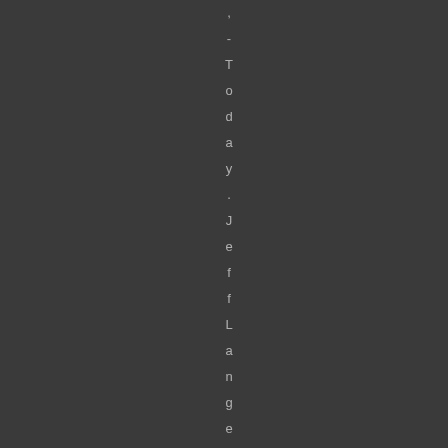, - Today. JeffLangeDVD has rel